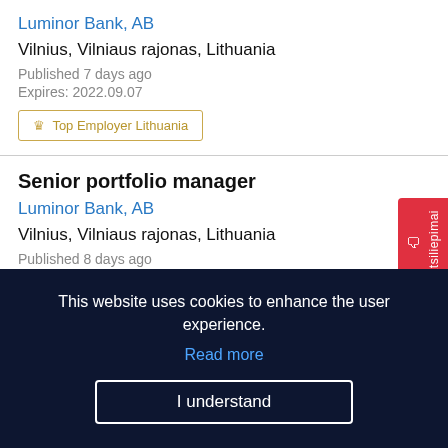Luminor Bank, AB
Vilnius, Vilniaus rajonas, Lithuania
Published 7 days ago
Expires: 2022.09.07
👑 Top Employer Lithuania
Senior portfolio manager
Luminor Bank, AB
Vilnius, Vilniaus rajonas, Lithuania
Published 8 days ago
Expires: 2022.08.30
€ 3700 – 5900
👑 Top Employer Lithuania
This website uses cookies to enhance the user experience. Read more
I understand